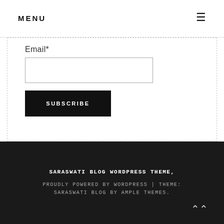MENU
Email*
SUBSCRIBE
SARASWATI BLOG WORDPRESS THEME, PROUDLY POWERED BY WORDPRESS | THEME: SARASWATI BLOG BY AMPLE THEMES.